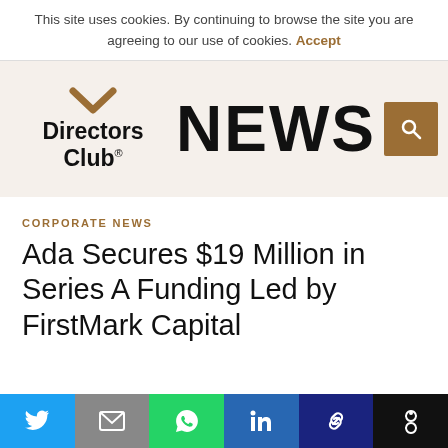This site uses cookies. By continuing to browse the site you are agreeing to our use of cookies. Accept
[Figure (logo): Directors Club NEWS logo with brown chevron/checkmark icon above 'Directors Club.' text on left, and large 'NEWS' text on right, on a beige background]
CORPORATE NEWS
Ada Secures $19 Million in Series A Funding Led by FirstMark Capital
[Figure (infographic): Social sharing bar with six buttons: Twitter (blue), Email (grey), WhatsApp (green), LinkedIn (blue), Link (dark blue), More (dark/black)]